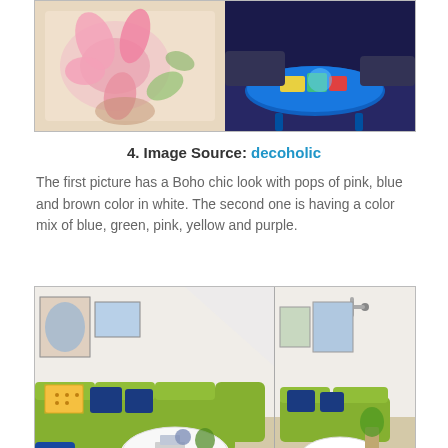[Figure (photo): Two interior design photos side by side: left shows a Boho chic rug with pink floral pattern; right shows a blue round table with colorful display]
4. Image Source: decoholic
The first picture has a Boho chic look with pops of pink, blue and brown color in white. The second one is having a color mix of blue, green, pink, yellow and purple.
[Figure (photo): Two interior design photos: left shows a green sectional sofa with blue and yellow pillows and white oval coffee table in a bright living room; right shows the same living room from a wider angle]
5. Image Source: hgtv
This living area is decorated in green, light blue, dark blue and yellow color. The frames of abstract art are adding a sudden